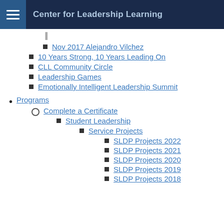Center for Leadership Learning
Nov 2017 Alejandro Vilchez
10 Years Strong, 10 Years Leading On
CLL Community Circle
Leadership Games
Emotionally Intelligent Leadership Summit
Programs
Complete a Certificate
Student Leadership
Service Projects
SLDP Projects 2022
SLDP Projects 2021
SLDP Projects 2020
SLDP Projects 2019
SLDP Projects 2018